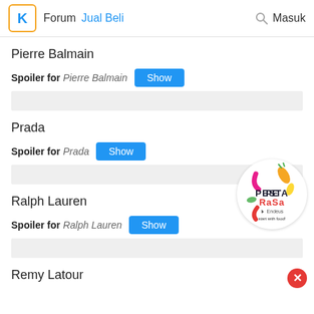Forum  Jual Beli  Masuk
Pierre Balmain
Spoiler for Pierre Balmain  Show
Prada
Spoiler for Prada  Show
[Figure (logo): Pesta Rasa logo — circular logo with vegetables and text 'PESTA RASA by Endeus, start with food!']
Ralph Lauren
Spoiler for Ralph Lauren  Show
Remy Latour